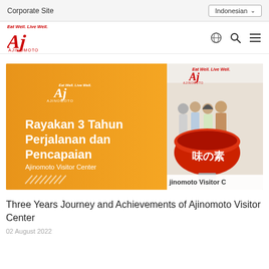Corporate Site
Indonesian
[Figure (logo): Eat Well, Live Well. Ajinomoto logo with stylized red Aj lettering]
[Figure (photo): Ajinomoto banner image showing orange background with text 'Rayakan 3 Tahun Perjalanan dan Pencapaian - Ajinomoto Visitor Center' on the left and a group photo with a large red bowl-shaped display with Japanese characters on the right, with 'Ajinomoto Visitor C' text at the bottom]
Three Years Journey and Achievements of Ajinomoto Visitor Center
02 August 2022